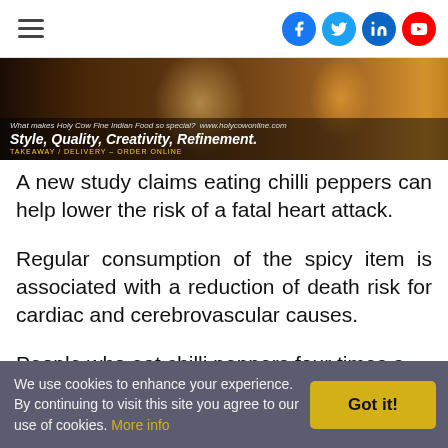Navigation bar with hamburger menu and social icons (Facebook, Twitter, LinkedIn, YouTube)
[Figure (photo): Banner photo of chef cooking, with overlay text: 'What makes Holy Cow Fine Indian Food so special? www.holycowonline.com' and 'Style, Quality, Creativity, Refinement.' with 'TAKEAWAY / DELIVERY - ORDER ONLINE']
A new study claims eating chilli peppers can help lower the risk of a fatal heart attack.
Regular consumption of the spicy item is associated with a reduction of death risk for cardiac and cerebrovascular causes.
People who eat chilli peppers four times a
We use cookies to enhance your experience. By continuing to visit this site you agree to our use of cookies. More info